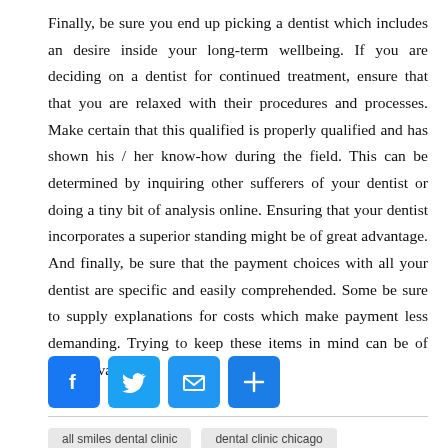Finally, be sure you end up picking a dentist which includes an desire inside your long-term wellbeing. If you are deciding on a dentist for continued treatment, ensure that that you are relaxed with their procedures and processes. Make certain that this qualified is properly qualified and has shown his / her know-how during the field. This can be determined by inquiring other sufferers of your dentist or doing a tiny bit of analysis online. Ensuring that your dentist incorporates a superior standing might be of great advantage. And finally, be sure that the payment choices with all your dentist are specific and easily comprehended. Some be sure to supply explanations for costs which make payment less demanding. Trying to keep these items in mind can be of good advantage.
[Figure (other): Social share buttons: Facebook, Twitter, Email, and a plus/share button]